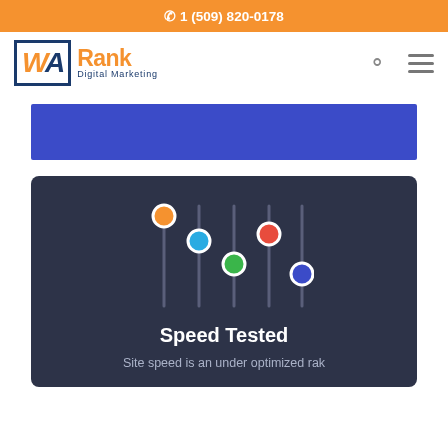1 (509) 820-0178
[Figure (logo): WA Rank Digital Marketing logo with orange WA in bordered box and orange Rank text with blue Digital Marketing subtitle]
[Figure (illustration): Colorful vertical slider/equalizer controls illustration on dark background]
Speed Tested
Site speed is an under optimized rak